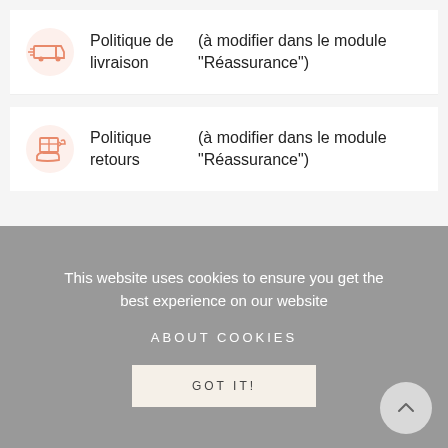[Figure (illustration): Orange delivery truck icon inside a circular background]
Politique de livraison   (à modifier dans le module "Réassurance")
[Figure (illustration): Orange hand holding a box/return icon inside a circular background]
Politique retours   (à modifier dans le module "Réassurance")
This website uses cookies to ensure you get the best experience on our website
ABOUT COOKIES
GOT IT!